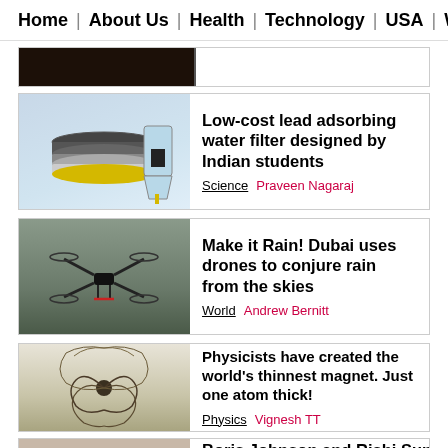Home | About Us | Health | Technology | USA | Wo
[Figure (screenshot): Partial top of a previous article card with dark nature image]
[Figure (photo): Water filter components - exploded view showing filter layers and a cone-shaped container]
Low-cost lead adsorbing water filter designed by Indian students
Science  Praveen Nagaraj
[Figure (photo): A drone flying in overcast sky]
Make it Rain! Dubai uses drones to conjure rain from the skies
World  Andrew Bernitt
[Figure (photo): Magnetic field pattern - iron filings arranged in circular swirl pattern]
Physicists have created the world's thinnest magnet. Just one atom thick!
Physics  Vignesh TT
[Figure (photo): Portraits of Boris Johnson and Rishi Sunak]
Boris Johnson and Rishi Sunak reverse decision to avoid self-